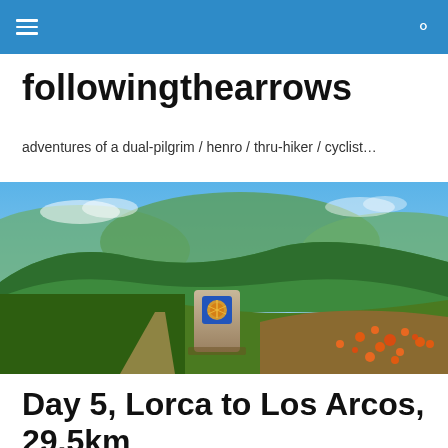followingthearrows — navigation bar
followingthearrows
adventures of a dual-pilgrim / henro / thru-hiker / cyclist…
[Figure (photo): Panoramic landscape photo of green rolling hills and forest with a Camino de Santiago stone waymarker in the center foreground, featuring a blue and yellow scallop shell tile. Orange wildflowers on the right, a dirt path visible on the left descending into the valley.]
Day 5, Lorca to Los Arcos, 29.5km